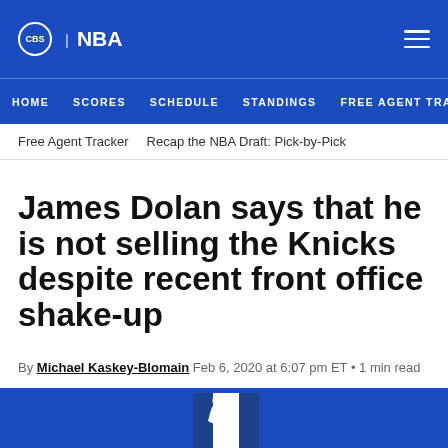CBS | NBA
HOME  SCORES  SCHEDULE  STANDINGS  FREE AGENT TRA
Free Agent Tracker   Recap the NBA Draft: Pick-by-Pick
James Dolan says that he is not selling the Knicks despite recent front office shake-up
By Michael Kaskey-Blomain  Feb 6, 2020 at 6:07 pm ET • 1 min read
[Figure (logo): NBA logo (silhouette of basketball player in red, white and blue) partially visible at bottom center on blue background]